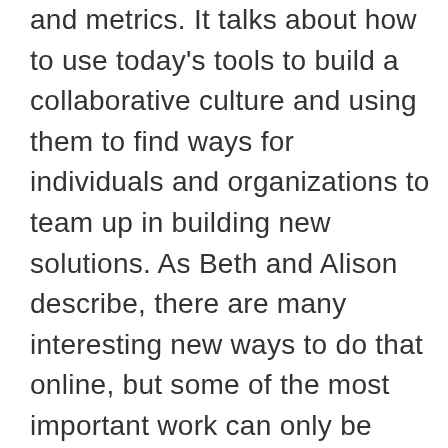and metrics. It talks about how to use today's tools to build a collaborative culture and using them to find ways for individuals and organizations to team up in building new solutions. As Beth and Alison describe, there are many interesting new ways to do that online, but some of the most important work can only be done in face-to-face convenings. Convenings have long been acknowledged as an important tool in driving change. They can help people with different knowledge, skills, and points of view to